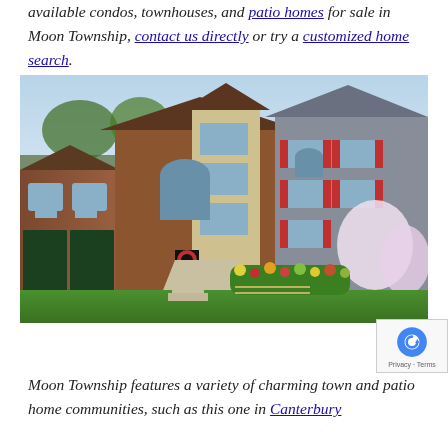available condos, townhouses, and patio homes for sale in Moon Township, contact us directly or try a customized home search.
[Figure (photo): Exterior photo of brick and gray siding townhouse community with green lawns, colorful flower gardens, attached garages, and a concrete driveway. Summer photo with blue sky.]
Moon Township features a variety of charming town and patio home communities, such as this one in Canterbury